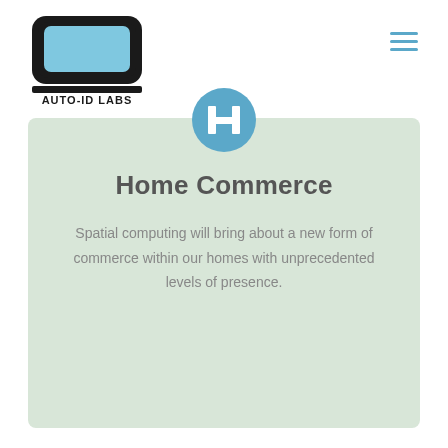[Figure (logo): Auto-ID Labs logo: black monitor-shaped icon with blue screen and 'AUTO-ID LABS' text below]
[Figure (other): Hamburger menu icon with three blue horizontal lines]
[Figure (other): Blue circle icon with white 'H' letter, partially visible at top of green card]
Home Commerce
Spatial computing will bring about a new form of commerce within our homes with unprecedented levels of presence.